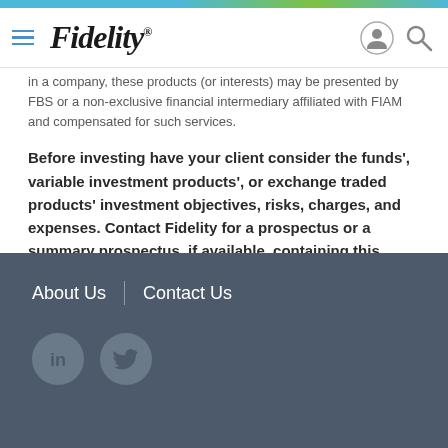Fidelity
in a company, these products (or interests) may be presented by FBS or a non-exclusive financial intermediary affiliated with FIAM and compensated for such services.
Before investing have your client consider the funds', variable investment products', or exchange traded products' investment objectives, risks, charges, and expenses. Contact Fidelity for a prospectus or a summary prospectus, if available, containing this information. Have your client read it carefully.
The use of the term "advisor(s)" throughout this site shall refer to both investment and broker dealers as a collective term.
About Us  |  Contact Us